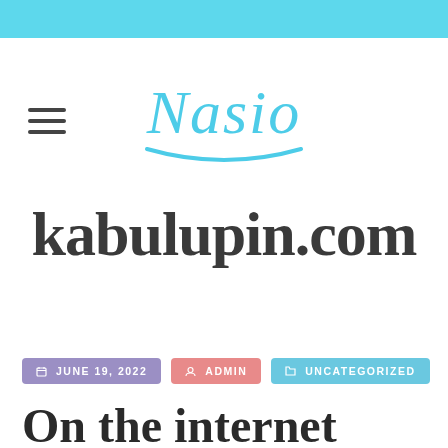[Figure (logo): Nasio script logo in light blue color with decorative underline swoosh]
kabulupin.com
📅 JUNE 19, 2022  👤 ADMIN  📁 UNCATEGORIZED
On the internet